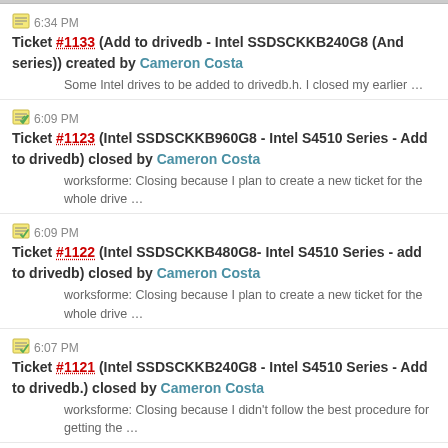6:34 PM Ticket #1133 (Add to drivedb - Intel SSDSCKKB240G8 (And series)) created by Cameron Costa
Some Intel drives to be added to drivedb.h. I closed my earlier …
6:09 PM Ticket #1123 (Intel SSDSCKKB960G8 - Intel S4510 Series - Add to drivedb) closed by Cameron Costa
worksforme: Closing because I plan to create a new ticket for the whole drive …
6:09 PM Ticket #1122 (Intel SSDSCKKB480G8- Intel S4510 Series - add to drivedb) closed by Cameron Costa
worksforme: Closing because I plan to create a new ticket for the whole drive …
6:07 PM Ticket #1121 (Intel SSDSCKKB240G8 - Intel S4510 Series - Add to drivedb.) closed by Cameron Costa
worksforme: Closing because I didn't follow the best procedure for getting the …
1:23 PM Ticket #1132 (attrlog files contains attribute strings for SCSI disks, but attribute ...) created by Ulrich
While trying to evaluate the numbers smartd write to attrlog files, I …
Nov 14, 2018:
8:32 PM Ticket #1131 (Micron 1100 SSD not recognized) created by Nichita Utiu